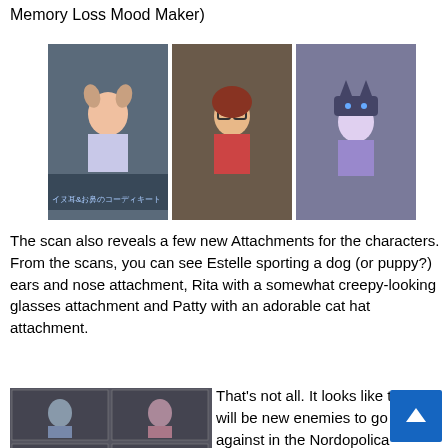Memory Loss Mood Maker)
[Figure (photo): Three side-by-side anime game screenshots showing character attachments: Estelle with dog ears and nose, Rita with glasses, Patty with cat hat.]
The scan also reveals a few new Attachments for the characters. From the scans, you can see Estelle sporting a dog (or puppy?) ears and nose attachment, Rita with a somewhat creepy-looking glasses attachment and Patty with an adorable cat hat attachment.
[Figure (photo): Anime game magazine scan showing coliseum battle scenes and character artwork.]
That's not all. It looks like there will be new enemies to go up against in the Nordopolica Coliseum. The scan reveals that members of the Hunting Blades Guild will be around to fight it out with you. The scan shows (look closely) Clint and Nan against Yuri and party in a coliseum battle. Though he wasn't shown, Tison will probably also be a coliseum opponent. Looking at the upper screenshot in this scan, will see the four previous Tales arena cameo opponents all together for battle (Barbatos, Shizel, Hyades and Phara...